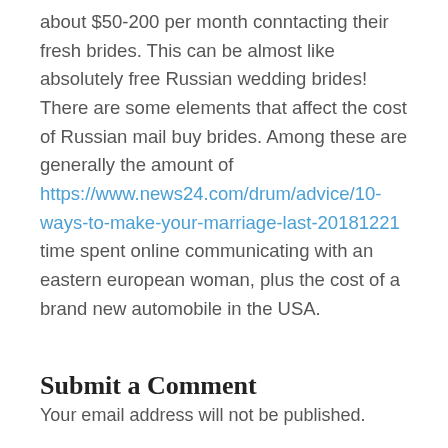about $50-200 per month conntacting their fresh brides. This can be almost like absolutely free Russian wedding brides! There are some elements that affect the cost of Russian mail buy brides. Among these are generally the amount of https://www.news24.com/drum/advice/10-ways-to-make-your-marriage-last-20181221 time spent online communicating with an eastern european woman, plus the cost of a brand new automobile in the USA.
Submit a Comment
Your email address will not be published.